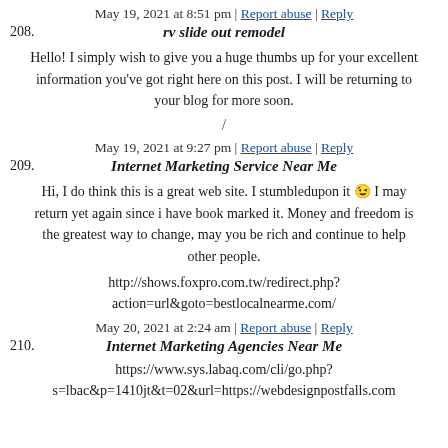May 19, 2021 at 8:51 pm | Report abuse | Reply
208. rv slide out remodel
Hello! I simply wish to give you a huge thumbs up for your excellent information you've got right here on this post. I will be returning to your blog for more soon.
/
May 19, 2021 at 9:27 pm | Report abuse | Reply
209. Internet Marketing Service Near Me
Hi, I do think this is a great web site. I stumbledupon it 😉 I may return yet again since i have book marked it. Money and freedom is the greatest way to change, may you be rich and continue to help other people.
http://shows.foxpro.com.tw/redirect.php?action=url&goto=bestlocalnearme.com/
May 20, 2021 at 2:24 am | Report abuse | Reply
210. Internet Marketing Agencies Near Me
https://www.sys.labaq.com/cli/go.php?s=lbac&p=1410jt&t=02&url=https://webdesignpostfalls.com